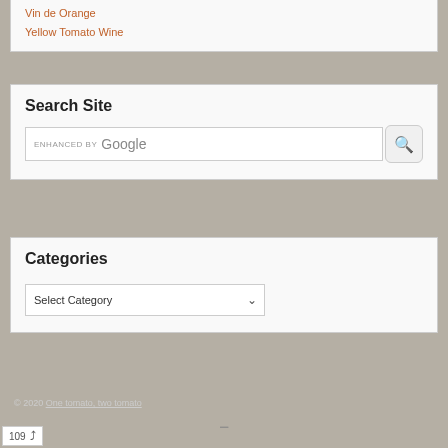Vin de Orange
Yellow Tomato Wine
Search Site
[Figure (screenshot): Google search bar with ENHANCED BY Google text and a search button with magnifying glass icon]
Categories
[Figure (screenshot): Dropdown select element showing 'Select Category' with a down arrow]
© 2020 One tomato, two tomato
109